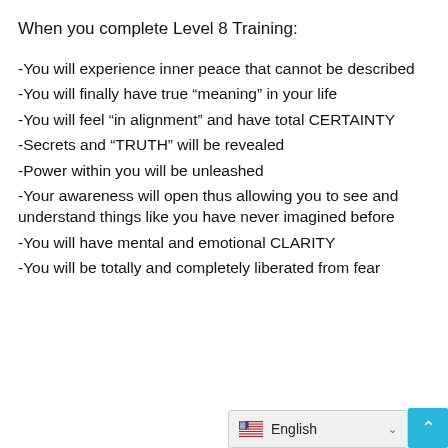When you complete Level 8 Training:
-You will experience inner peace that cannot be described
-You will finally have true “meaning” in your life
-You will feel “in alignment” and have total CERTAINTY
-Secrets and “TRUTH” will be revealed
-Power within you will be unleashed
-Your awareness will open thus allowing you to see and understand things like you have never imagined before
-You will have mental and emotional CLARITY
-You will be totally and completely liberated from fear